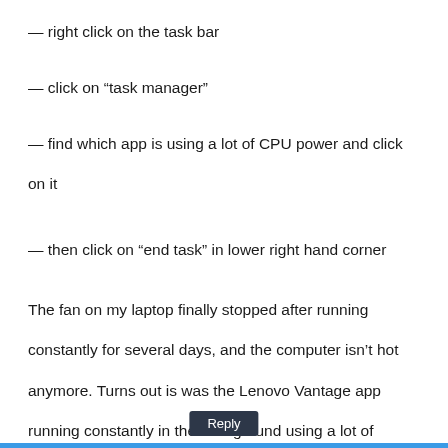— right click on the task bar
— click on “task manager”
— find which app is using a lot of CPU power and click on it
— then click on “end task” in lower right hand corner
The fan on my laptop finally stopped after running constantly for several days, and the computer isn’t hot anymore. Turns out is was the Lenovo Vantage app running constantly in the background using a lot of power.